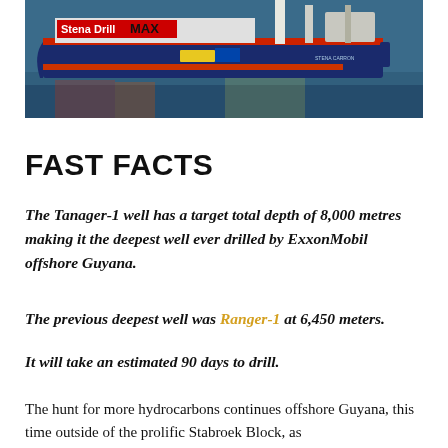[Figure (photo): A large offshore drilling ship named Stena DrillMAX on water, with colorful markings — dark blue hull, red and orange stripes, with drilling equipment visible on deck.]
FAST FACTS
The Tanager-1 well has a target total depth of 8,000 metres making it the deepest well ever drilled by ExxonMobil offshore Guyana.
The previous deepest well was Ranger-1 at 6,450 meters.
It will take an estimated 90 days to drill.
The hunt for more hydrocarbons continues offshore Guyana, this time outside of the prolific Stabroek Block, as